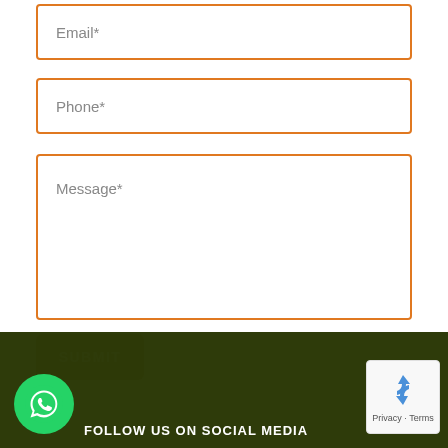Email*
Phone*
Message*
SUBMIT
[Figure (screenshot): WhatsApp icon in green circle, reCAPTCHA badge, and FOLLOW US ON SOCIAL MEDIA text on dark olive-green footer background]
FOLLOW US ON SOCIAL MEDIA